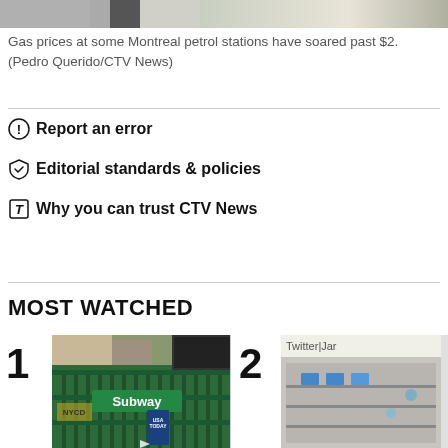[Figure (photo): Top portion of a photo showing gas station or street scene, partially cropped]
Gas prices at some Montreal petrol stations have soared past $2. (Pedro Querido/CTV News)
Report an error
Editorial standards & policies
Why you can trust CTV News
MOST WATCHED
[Figure (photo): Item 1: Photo of a New York City subway entrance with green railings and signage reading 'Subway', USA Today newspaper boxes visible]
[Figure (photo): Item 2: Partial photo showing what appears to be a Twitter/social media related image, partially cropped]